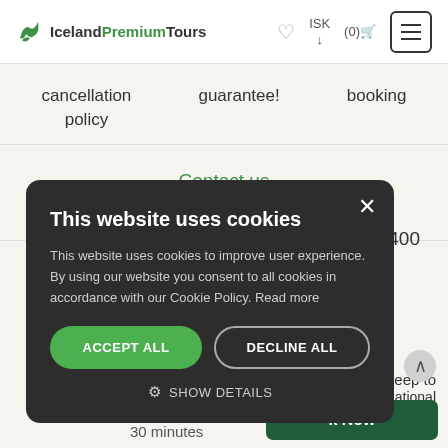IcelandPremiumTours  ISK  (0)  [menu]
cancellation policy
guarantee!
booking
Contact us for questions
4400
4x4 jeep to international
k Now
30 minutes
[Figure (screenshot): Cookie consent modal dialog on IcelandPremiumTours website with title 'This website uses cookies', body text, Accept All button (green), Decline All button (outlined), and Show Details option]
This website uses cookies
This website uses cookies to improve user experience. By using our website you consent to all cookies in accordance with our Cookie Policy. Read more
ACCEPT ALL
DECLINE ALL
SHOW DETAILS